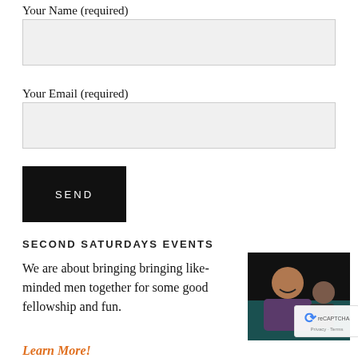Your Name (required)
[text input field]
Your Email (required)
[text input field]
SEND
SECOND SATURDAYS EVENTS
We are about bringing bringing like-minded men together for some good fellowship and fun.
Learn More!
[Figure (photo): A man laughing/smiling at what appears to be a poker or card game event, dark background, holding cards]